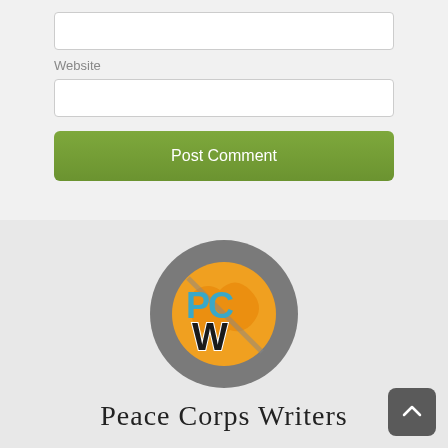[Figure (other): Empty white input field (top, partially visible)]
Website
[Figure (other): Empty white input field for website URL]
Post Comment
[Figure (logo): Peace Corps Writers circular logo with PCW letters on a globe background with grey circle]
Peace Corps Writers